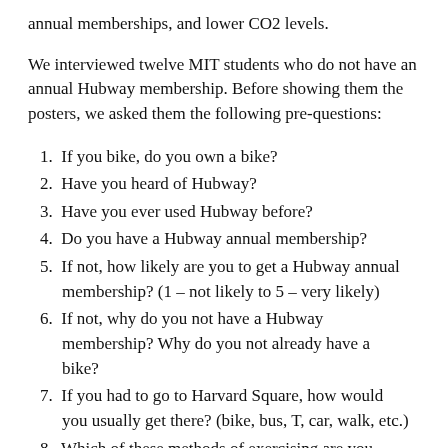annual memberships, and lower CO2 levels.
We interviewed twelve MIT students who do not have an annual Hubway membership. Before showing them the posters, we asked them the following pre-questions:
1. If you bike, do you own a bike?
2. Have you heard of Hubway?
3. Have you ever used Hubway before?
4. Do you have a Hubway annual membership?
5. If not, how likely are you to get a Hubway annual membership? (1 – not likely to 5 – very likely)
6. If not, why do you not have a Hubway membership? Why do you not already have a bike?
7. If you had to go to Harvard Square, how would you usually get there? (bike, bus, T, car, walk, etc.)
8. Which of these methods of exercising are you